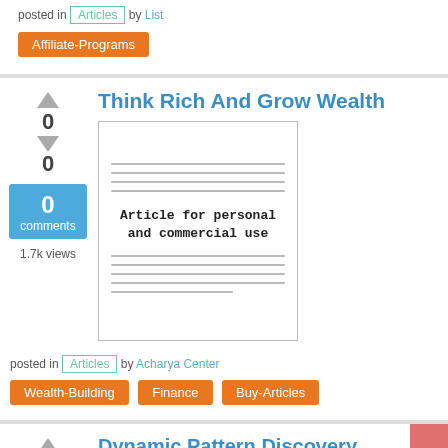posted in Articles by List
Affiliate-Programs
Think Rich And Grow Wealth
[Figure (illustration): Thumbnail image of an article document with horizontal lines and centered text reading 'Article for personal and commercial use']
posted in Articles by Acharya Center
Wealth-Building  Finance  Buy-Articles
Dynamic Pattern Discovery. Treatment and Recovery.